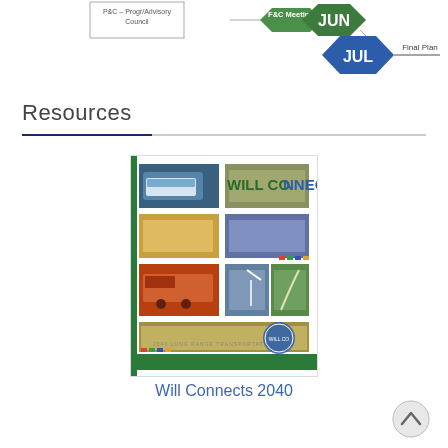[Figure (flowchart): Process flow diagram showing F&C Meeting in green hexagon (JUN), then JUL blue hexagon leading to Final Plan, with a box on the left partially visible]
Resources
[Figure (photo): Cover of Will Connects 2040 long range transportation plan document showing various transportation photos including bus, train, freight, highway, and bicycle path]
Will Connects 2040